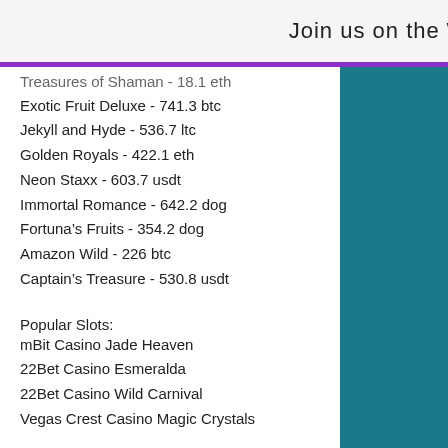Join us on the WiX app ↓
Treasures of Shaman - 18.1 eth
Exotic Fruit Deluxe - 741.3 btc
Jekyll and Hyde - 536.7 ltc
Golden Royals - 422.1 eth
Neon Staxx - 603.7 usdt
Immortal Romance - 642.2 dog
Fortuna's Fruits - 354.2 dog
Amazon Wild - 226 btc
Captain's Treasure - 530.8 usdt
Popular Slots:
mBit Casino Jade Heaven
22Bet Casino Esmeralda
22Bet Casino Wild Carnival
Vegas Crest Casino Magic Crystals
https://www.gbawalk.com/profile/eldonallerman18567977/profile
https://www.vanquishsales.com/profile/bradf